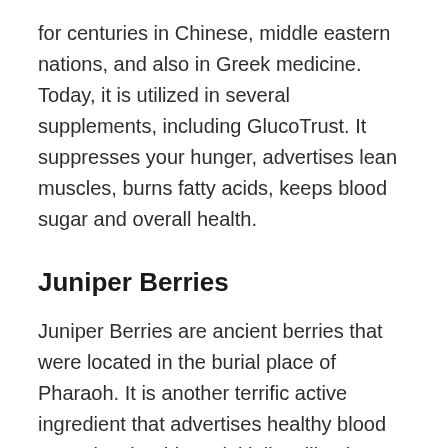for centuries in Chinese, middle eastern nations, and also in Greek medicine. Today, it is utilized in several supplements, including GlucoTrust. It suppresses your hunger, advertises lean muscles, burns fatty acids, keeps blood sugar and overall health.
Juniper Berries
Juniper Berries are ancient berries that were located in the burial place of Pharaoh. It is another terrific active ingredient that advertises healthy blood sugar level. Athletes initially utilized juniper berries to enhance their stamina, strength, and also general performance. With improvements in medication, experts have learnt that juniper berries